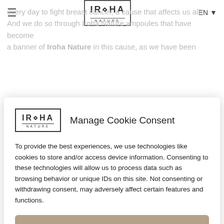every day to fight breast cancer, a cause that affects us all. And we do so through Iroha Nature ampoules that have become a banner of Iroha Nature in this cause, as we have been
[Figure (logo): Iroha Nature logo in modal header]
Manage Cookie Consent
To provide the best experiences, we use technologies like cookies to store and/or access device information. Consenting to these technologies will allow us to process data such as browsing behavior or unique IDs on this site. Not consenting or withdrawing consent, may adversely affect certain features and functions.
Accept
Deny
View preferences
Cookie policy  Privacy policy